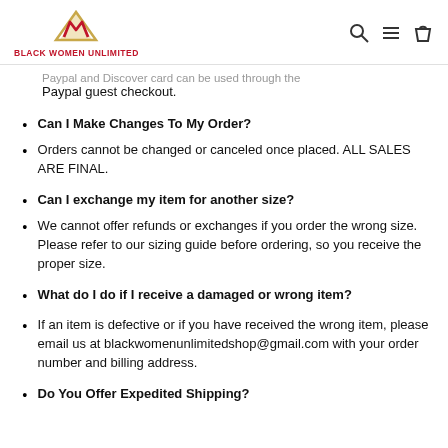BLACK WOMEN UNLIMITED
Paypal guest checkout.
Can I Make Changes To My Order?
Orders cannot be changed or canceled once placed. ALL SALES ARE FINAL.
Can I exchange my item for another size?
We cannot offer refunds or exchanges if you order the wrong size.  Please refer to our sizing guide before ordering, so you receive the proper size.
What do I do if I receive a damaged or wrong item?
If an item is defective or if you have received the wrong item, please email us at blackwomenunlimitedshop@gmail.com with your order number and billing address.
Do You Offer Expedited Shipping?